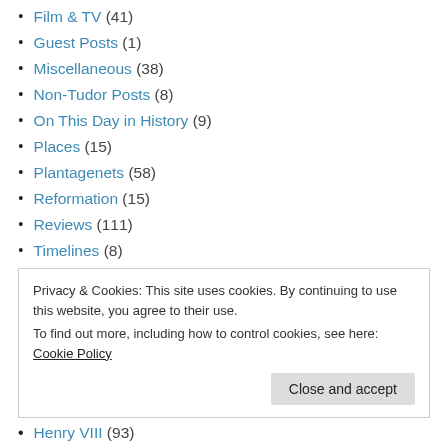Film & TV (41)
Guest Posts (1)
Miscellaneous (38)
Non-Tudor Posts (8)
On This Day in History (9)
Places (15)
Plantagenets (58)
Reformation (15)
Reviews (111)
Timelines (8)
Tudors (296)
Privacy & Cookies: This site uses cookies. By continuing to use this website, you agree to their use. To find out more, including how to control cookies, see here: Cookie Policy
Henry VIII (93)